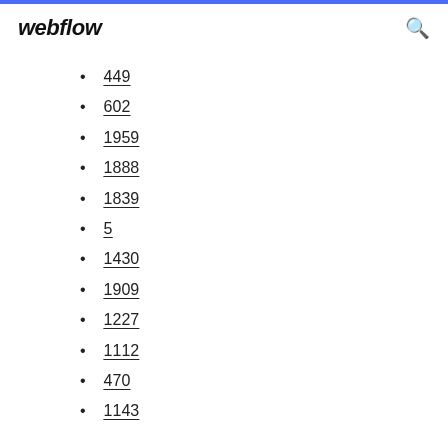webflow
449
602
1959
1888
1839
5
1430
1909
1227
1112
470
1143